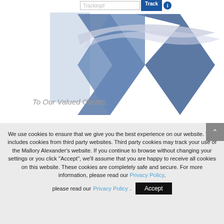[Figure (screenshot): Partial screenshot of a website header showing a Tracking# input field, a blue Track button, and an info button, along with the Mallory Alexander logo (stylized M in blue and grey tones).]
To Our Valued Clients,
We use cookies to ensure that we give you the best experience on our website. This includes cookies from third party websites. Third party cookies may track your use of the Mallory Alexander's website. If you continue to browse without changing your settings or you click "Accept", we'll assume that you are happy to receive all cookies on this website. These cookies are completely safe and secure. For more information, please read our Privacy Policy.
Accept